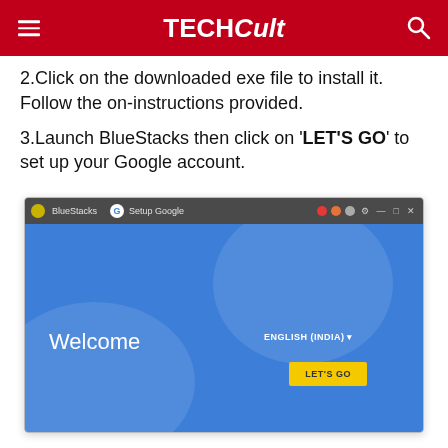TECHCult
2.Click on the downloaded exe file to install it. Follow the on-instructions provided.
3.Launch BlueStacks then click on 'LET'S GO' to set up your Google account.
[Figure (screenshot): BlueStacks application window showing the Google account setup screen with 'Welcome' text, ENGLISH (INDIA) language selector, and a yellow LET'S GO button]